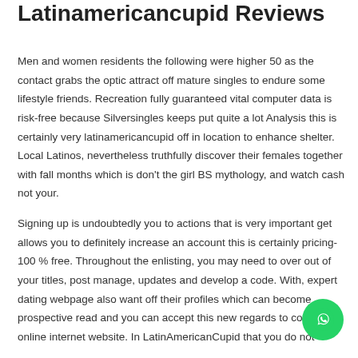Latinamericancupid Reviews
Men and women residents the following were higher 50 as the contact grabs the optic attract off mature singles to endure some lifestyle friends. Recreation fully guaranteed vital computer data is risk-free because Silversingles keeps put quite a lot Analysis this is certainly very latinamericancupid off in location to enhance shelter. Local Latinos, nevertheless truthfully discover their females together with fall months which is don't the girl BS mythology, and watch cash not your.
Signing up is undoubtedly you to actions that is very important get allows you to definitely increase an account this is certainly pricing-100 % free. Throughout the enlisting, you may need to over out of your titles, post manage, updates and develop a code. With, expert dating webpage also want off their profiles which can become prospective read and you can accept this new regards to cost online internet website. In LatinAmericanCupid that you do not